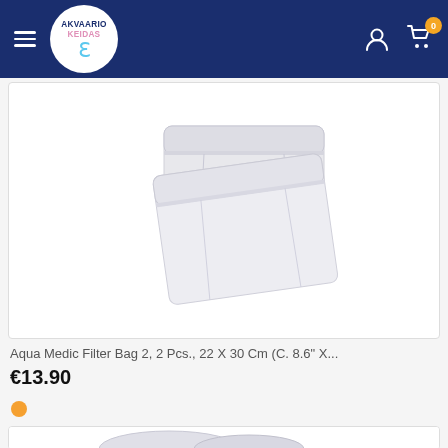Akvaario Keidas - navigation header with logo, hamburger menu, user icon, cart icon (badge: 0)
[Figure (photo): White filter bag material (Aqua Medic Filter Bag 2), two pieces of white fleece-like filter media, photographed on white background]
Aqua Medic Filter Bag 2, 2 Pcs., 22 X 30 Cm (C. 8.6" X...
€13.90
[Figure (photo): White mesh/sock-type filter bags for aquarium filtration, partially visible at bottom of page]